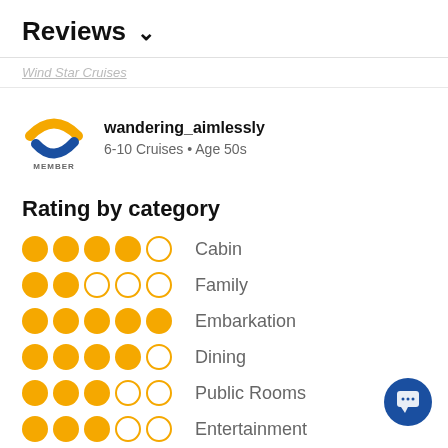Reviews ∨
Review for Wind Star Cruises
[Figure (logo): Cruise critic member logo with orange and blue C shape and MEMBER text below]
wandering_aimlessly
6-10 Cruises • Age 50s
Rating by category
●●●●○ Cabin (4 out of 5)
●●○○○ Family (2 out of 5)
●●●●● Embarkation (5 out of 5)
●●●●○ Dining (4 out of 5)
●●●○○ Public Rooms (3 out of 5)
●●●○○ Entertainment (partial)